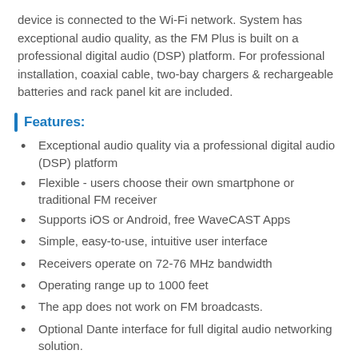device is connected to the Wi-Fi network. System has exceptional audio quality, as the FM Plus is built on a professional digital audio (DSP) platform. For professional installation, coaxial cable, two-bay chargers & rechargeable batteries and rack panel kit are included.
Features:
Exceptional audio quality via a professional digital audio (DSP) platform
Flexible - users choose their own smartphone or traditional FM receiver
Supports iOS or Android, free WaveCAST Apps
Simple, easy-to-use, intuitive user interface
Receivers operate on 72-76 MHz bandwidth
Operating range up to 1000 feet
The app does not work on FM broadcasts.
Optional Dante interface for full digital audio networking solution.
Includes:
FM T55 Stationary Transmitter